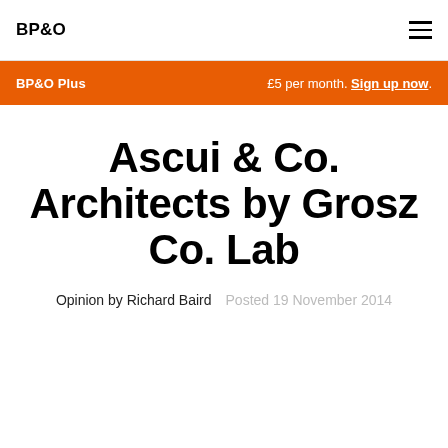BP&O
BP&O Plus   £5 per month. Sign up now.
Ascui & Co. Architects by Grosz Co. Lab
Opinion by Richard Baird   Posted 19 November 2014